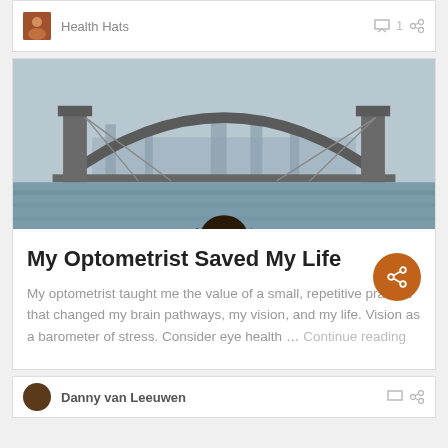Health Hats
[Figure (photo): Photo of Sydney Harbour Bridge with a person's head visible in the foreground, taken from the water]
My Optometrist Saved My Life
My optometrist taught me the value of a small, repetitive practice that changed my brain pathways, my vision, and my life. Vision as a barometer of stress. Consider eye health … Continue reading
Danny van Leeuwen